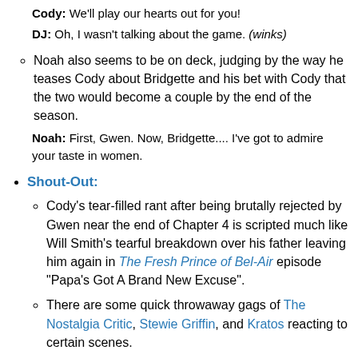Cody: We'll play our hearts out for you!
DJ: Oh, I wasn't talking about the game. (winks)
Noah also seems to be on deck, judging by the way he teases Cody about Bridgette and his bet with Cody that the two would become a couple by the end of the season.
Noah: First, Gwen. Now, Bridgette.... I've got to admire your taste in women.
Shout-Out:
Cody's tear-filled rant after being brutally rejected by Gwen near the end of Chapter 4 is scripted much like Will Smith's tearful breakdown over his father leaving him again in The Fresh Prince of Bel-Air episode "Papa's Got A Brand New Excuse".
There are some quick throwaway gags of The Nostalgia Critic, Stewie Griffin, and Kratos reacting to certain scenes.
Moments from The Wizard of Oz and How the Grinch